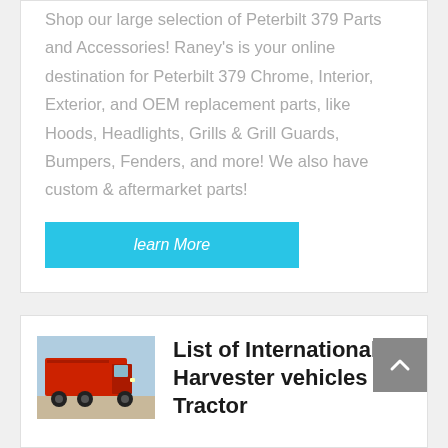Shop our large selection of Peterbilt 379 Parts and Accessories! Raney's is your online destination for Peterbilt 379 Chrome, Interior, Exterior, and OEM replacement parts, like Hoods, Headlights, Grills & Grill Guards, Bumpers, Fenders, and more! We also have custom & aftermarket parts!
learn More
[Figure (photo): Red dump truck parked outdoors, side and front view]
List of International Harvester vehicles | Tractor